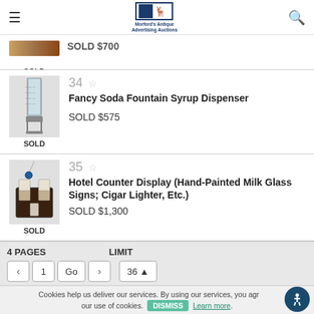Morford's Antique Advertising Auctions
SOLD $700
SOLD
34 ☆ Fancy Soda Fountain Syrup Dispenser SOLD $575
SOLD
35 ☆ Hotel Counter Display (Hand-Painted Milk Glass Signs; Cigar Lighter, Etc.) SOLD $1,300
SOLD
4 PAGES   LIMIT
< 1 Go > 36▲
Cookies help us deliver our services. By using our services, you agree to our use of cookies.
DISMISS   Learn more.